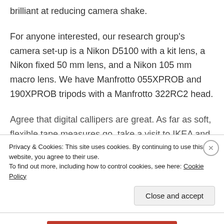brilliant at reducing camera shake.
For anyone interested, our research group's camera set-up is a Nikon D5100 with a kit lens, a Nikon fixed 50 mm lens, and a Nikon 105 mm macro lens. We have Manfrotto 055XPROB and 190XPROB tripods with a Manfrotto 322RC2 head.
Agree that digital callipers are great. As far as soft, flexible tape measures go, take a visit to IKEA and pick up a bunch of those paper tape
Privacy & Cookies: This site uses cookies. By continuing to use this website, you agree to their use.
To find out more, including how to control cookies, see here: Cookie Policy
Close and accept